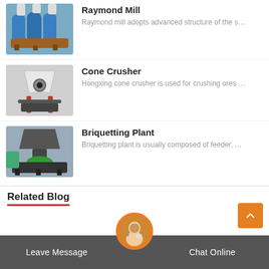[Figure (photo): Raymond Mill machinery - blue industrial grinding equipment]
Raymond Mill
Raymond mill adopts advanced structure of the s…
[Figure (photo): Cone Crusher - white and red industrial cone crushing machine]
Cone Crusher
Hongxing cone crusher is used for crushing ores …
[Figure (photo): Briquetting Plant - dark grey industrial briquetting machine]
Briquetting Plant
Briquetting plant is usually composed of feeder, …
Related Blog